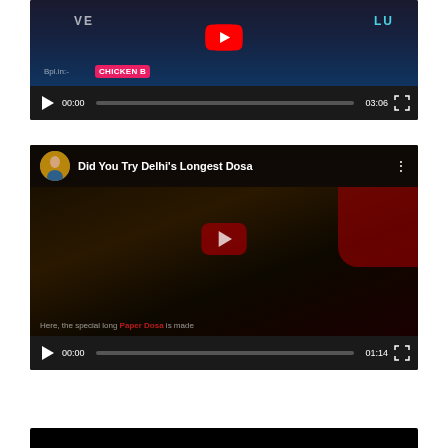[Figure (screenshot): Embedded YouTube video player showing a partially visible video thumbnail with YouTube logo, text 'VE...', 'LU', 'Bpl.in:-', 'CHICKEN B' visible. Video controls show 00:00 current time and 03:06 duration.]
[Figure (screenshot): Embedded YouTube video player titled 'Did You Try Delhi's Longest Dosa' with a channel avatar showing a woman in blue. Thumbnail shows a long dosa with YouTube play button. Bottom text reads 'Here, the special long Paper Dosa is made'. Controls show 00:00 and 01:14 duration.]